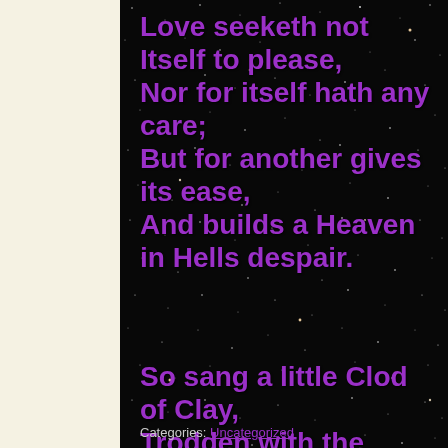[Figure (photo): Dark starfield background (space/galaxy image) occupying the right portion of the page. Left side has a cream/beige margin.]
Love seeketh not Itself to please,
Nor for itself hath any care;
But for another gives its ease,
And builds a Heaven in Hells despair.
So sang a little Clod of Clay,
Trodden with the cattle's feet;
Categories: Uncategorized